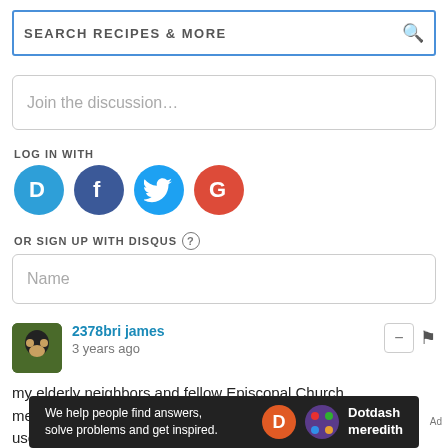SEARCH RECIPES & MORE
Join the discussion…
LOG IN WITH
[Figure (logo): Social login icons: Disqus (D), Facebook (f), Twitter (bird), Google (G)]
OR SIGN UP WITH DISQUS ?
Name
2378bri james · 3 years ago
my elderly neighbors and fellow Episcopal Church members served this drink at Cocktail hour, they didn't use club soda, just water, but ginger ail and whiskey. I am having one now. I
[Figure (infographic): Dotdash Meredith ad banner: We help people find answers, solve problems and get inspired.]